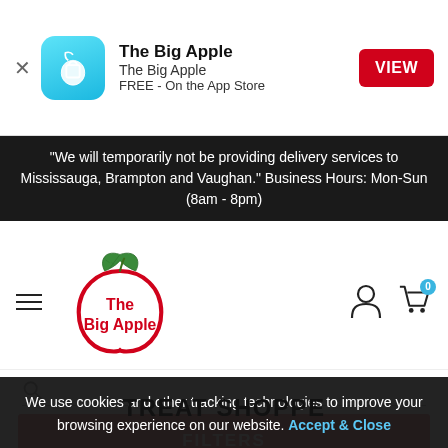[Figure (screenshot): App Store banner for 'The Big Apple' app with teal icon, app name, subtitle, FREE label, and red VIEW button]
"We will temporarily not be providing delivery services to Mississauga, Brampton and Vaughan." Business Hours: Mon-Sun (8am - 8pm)
[Figure (logo): The Big Apple logo - red apple with green leaf and brand name]
[Figure (screenshot): Search bar with magnifying glass icon and horizontal line]
FILTERS
TREAT SHOPPE
We use cookies and other tracking technologies to improve your browsing experience on our website. Accept & Close